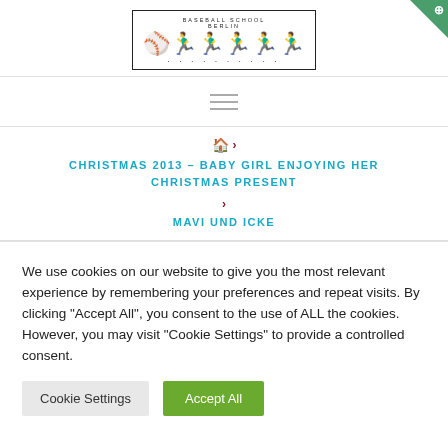[Figure (logo): Baseball School Berlin logo with text and player silhouettes in a bordered box]
[Figure (illustration): Hamburger menu icon with three horizontal lines]
CHRISTMAS 2013 – BABY GIRL ENJOYING HER CHRISTMAS PRESENT
MAVI UND ICKE
We use cookies on our website to give you the most relevant experience by remembering your preferences and repeat visits. By clicking "Accept All", you consent to the use of ALL the cookies. However, you may visit "Cookie Settings" to provide a controlled consent.